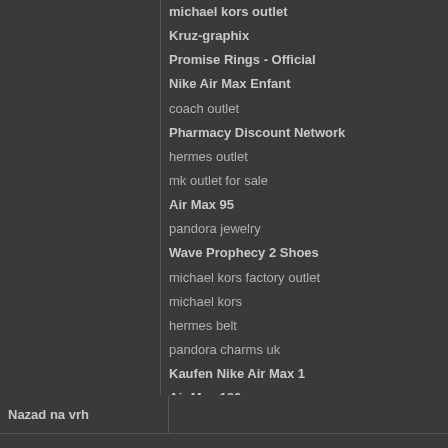michael kors outlet
Kruz-graphix
Promise Rings - Official
Nike Air Max Enfant
coach outlet
Pharmacy Discount Network
hermes outlet
mk outlet for sale
Air Max 95
pandora jewelry
Wave Prophecy 2 Shoes
michael kors factory outlet
michael kors
hermes belt
pandora charms uk
Kaufen Nike Air Max 1
Air Max 180
puma outlet
michael kors bags
pandora jewelry uk
Air Max 90 Femme
burberry outlet
aqinga17.11.22
Nazad na vrh